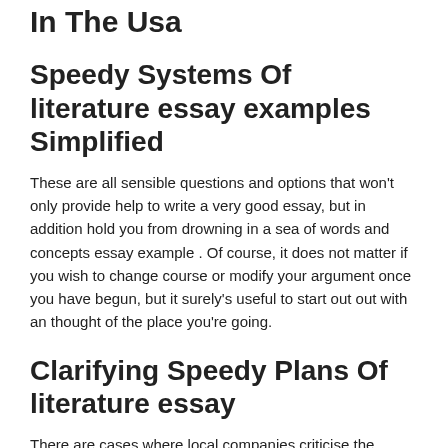Plans In literature Essay Examples In The Usa
Speedy Systems Of literature essay examples Simplified
These are all sensible questions and options that won't only provide help to write a very good essay, but in addition hold you from drowning in a sea of words and concepts essay example . Of course, it does not matter if you wish to change course or modify your argument once you have begun, but it surely's useful to start out out with an thought of the place you're going.
Clarifying Speedy Plans Of literature essay
There are cases where local companies criticise the individuals who resolve to buy at huge supermarkets. It is seen that such persons are not focusing on enhancing the small-town life. However, they're